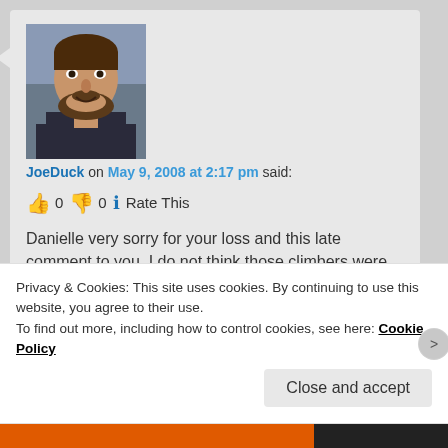[Figure (photo): Profile photo of a man with a beard, smiling, wearing a dark jacket, outdoors]
JoeDuck on May 9, 2008 at 2:17 pm said:
👍 0 👎 0 🔵 Rate This
Danielle very sorry for your loss and this late comment to you. I do not think those climbers were found but not sure.
Reply ↓
Privacy & Cookies: This site uses cookies. By continuing to use this website, you agree to their use.
To find out more, including how to control cookies, see here: Cookie Policy
Close and accept